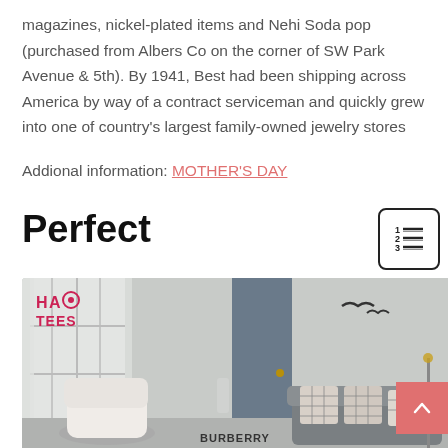magazines, nickel-plated items and Nehi Soda pop (purchased from Albers Co on the corner of SW Park Avenue & 5th). By 1941, Best had been shipping across America by way of a contract serviceman and quickly grew into one of country's largest family-owned jewelry stores
Addional information: MOTHER'S DAY
Perfect
[Figure (photo): Interior room scene showing a sofa with Burberry plaid pillows, a white lounge chair, large windows, and bird wall art. HAO TEES logo visible in upper left corner.]